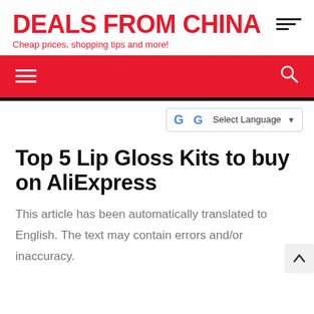DEALS FROM CHINA – Cheap prices, shopping tips and more!
Top 5 Lip Gloss Kits to buy on AliExpress
This article has been automatically translated to English. The text may contain errors and/or inaccuracy.